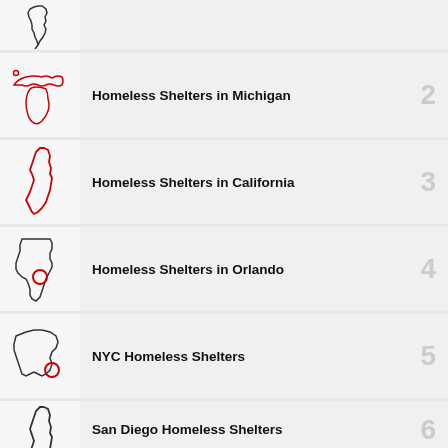[Figure (map): Partial view of Illinois state outline (top row, cropped)]
Homeless Shelters in Michigan
[Figure (map): Michigan state outline in red]
Homeless Shelters in California
[Figure (map): California state outline in red]
Homeless Shelters in Orlando
[Figure (map): Florida state outline in black with red circle marking Orlando]
NYC Homeless Shelters
[Figure (map): New York state outline in black with red circle marking NYC]
San Diego Homeless Shelters
[Figure (map): Partial view of California state outline (bottom row, cropped)]